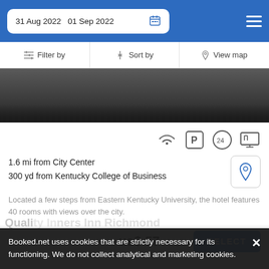31 Aug 2022   01 Sep 2022
Filter by   Sort by   View map
[Figure (photo): Dark hotel exterior photo, partially cropped]
1.6 mi from City Center
300 yd from Kentucky College of Business
Located a few steps from Eastern Kentucky University, the hotel features 40 rooms with views over the city.
from  us$ 57/night   SELECT
Booked.net uses cookies that are strictly necessary for its functioning. We do not collect analytical and marketing cookies.
Quality Inns Richmond